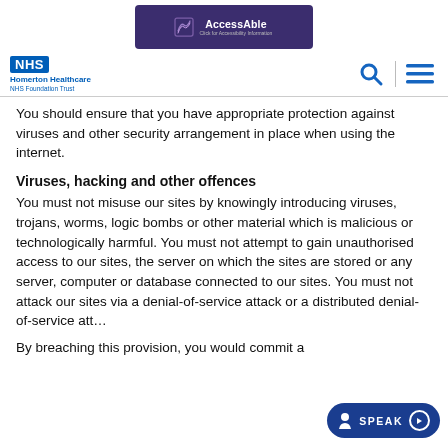[Figure (logo): AccessAble purple banner logo with book icon and tagline 'Click for Accessibility Information']
[Figure (logo): NHS Homerton Healthcare NHS Foundation Trust logo in blue, with search and hamburger menu icons on the right]
You should ensure that you have appropriate protection against viruses and other security arrangement in place when using the internet.
Viruses, hacking and other offences
You must not misuse our sites by knowingly introducing viruses, trojans, worms, logic bombs or other material which is malicious or technologically harmful. You must not attempt to gain unauthorised access to our sites, the server on which the sites are stored or any server, computer or database connected to our sites. You must not attack our sites via a denial-of-service attack or a distributed denial-of-service att...
By breaching this provision, you would commit a